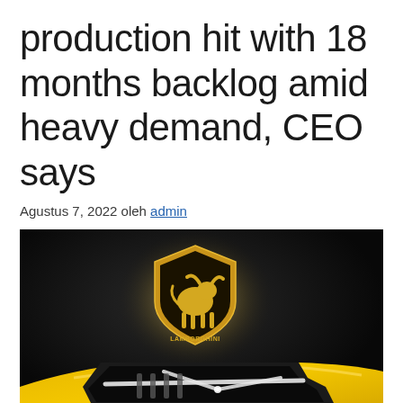production hit with 18 months backlog amid heavy demand, CEO says
Agustus 7, 2022 oleh admin
[Figure (photo): Close-up photo of a yellow Lamborghini sports car with the Lamborghini bull logo shield badge illuminated against a dark background, showing the car's distinctive angular headlight design.]